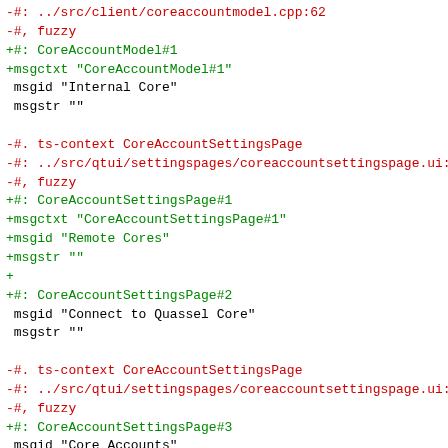-#: ../src/client/coreaccountmodel.cpp:62
-#, fuzzy
+#: CoreAccountModel#1
+msgctxt "CoreAccountModel#1"
 msgid "Internal Core"
 msgstr ""

-#. ts-context CoreAccountSettingsPage
-#: ../src/qtui/settingspages/coreaccountsettingspage.ui:20
-#, fuzzy
+#: CoreAccountSettingsPage#1
+msgctxt "CoreAccountSettingsPage#1"
+msgid "Remote Cores"
+msgstr ""
+
+#: CoreAccountSettingsPage#2
 msgid "Connect to Quassel Core"
 msgstr ""

-#. ts-context CoreAccountSettingsPage
-#: ../src/qtui/settingspages/coreaccountsettingspage.ui:30
-#, fuzzy
+#: CoreAccountSettingsPage#3
 msgid "Core Accounts"
 msgstr ""

-#. ts-context CoreAccountSettingsPage
-#: ../src/qtui/settingspages/coreaccountsettingspage.ui:45
-#, fuzzy
+#: CoreAccountSettingsPage#4
 msgid "Edit..."
 msgstr ""